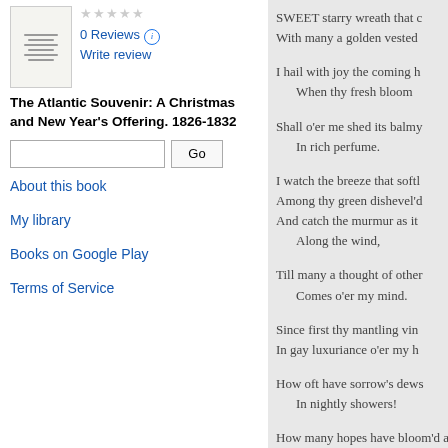[Figure (illustration): Book cover thumbnail for The Atlantic Souvenir]
0 Reviews
Write review
The Atlantic Souvenir: A Christmas and New Year's Offering. 1826-1832
About this book
My library
Books on Google Play
Terms of Service
SWEET starry wreath that c
With many a golden vested

I hail with joy the coming h
    When thy fresh bloom

Shall o'er me shed its balmy
    In rich perfume.

I watch the breeze that softl
Among thy green dishevel'd
And catch the murmur as it
    Along the wind,

Till many a thought of other
    Comes o'er my mind.

Since first thy mantling vin
In gay luxuriance o'er my h

How oft have sorrow's dews
    In nightly showers!

How many hopes have bloom'd a